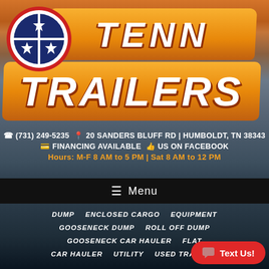[Figure (logo): Tenn Trailers logo with Tennessee state circle emblem on left, TENN text on orange banner above, TRAILERS text on larger orange banner below, mountain sunset background]
☎ (731) 249-5235  📍 20 SANDERS BLUFF RD | HUMBOLDT, TN 38343
💳 FINANCING AVAILABLE  👍 US ON FACEBOOK
Hours: M-F 8 AM to 5 PM | Sat 8 AM to 12 PM
☰ Menu
DUMP
ENCLOSED CARGO
EQUIPMENT
GOOSENECK DUMP
ROLL OFF DUMP
GOOSENECK CAR HAULER
FLAT
CAR HAULER
UTILITY
USED TRAILERS
💬 Text Us!